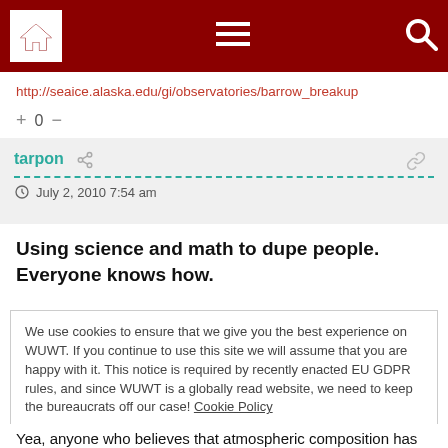[Figure (screenshot): Navigation bar with home icon, hamburger menu, and search icon on dark red background]
http://seaice.alaska.edu/gi/observatories/barrow_breakup
+ 0 −
tarpon
July 2, 2010 7:54 am
Using science and math to dupe people. Everyone knows how.
We use cookies to ensure that we give you the best experience on WUWT. If you continue to use this site we will assume that you are happy with it. This notice is required by recently enacted EU GDPR rules, and since WUWT is a globally read website, we need to keep the bureaucrats off our case! Cookie Policy
Close and accept
Yea, anyone who believes that atmospheric composition has